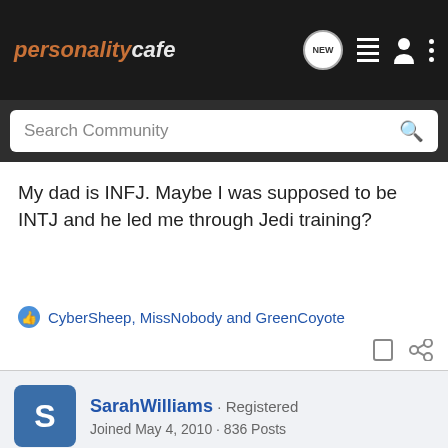personalitycafe — NEW [icons]
Search Community
My dad is INFJ. Maybe I was supposed to be INTJ and he led me through Jedi training?
CyberSheep, MissNobody and GreenCoyote
SarahWilliams · Registered
Joined May 4, 2010 · 836 Posts
#7 · Oct 5, 2010
does anyone else think alcohol wouldn't affect the results very